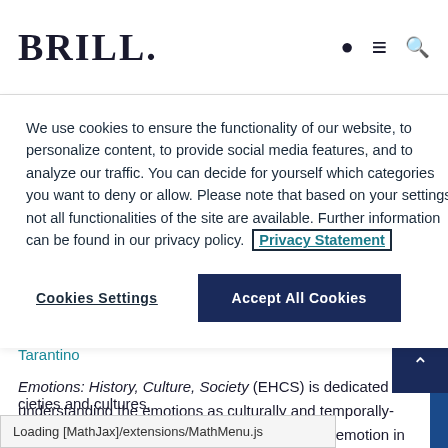BRILL
We use cookies to ensure the functionality of our website, to personalize content, to provide social media features, and to analyze our traffic. You can decide for yourself which categories you want to deny or allow. Please note that based on your settings not all functionalities of the site are available. Further information can be found in our privacy policy. Privacy Statement
Cookies Settings   Accept All Cookies
Editors: Katie Barclay, Kathryn de Luna, and Giovanni Tarantino
Emotions: History, Culture, Society (EHCS) is dedicated to understanding the emotions as culturally and temporally-situated phenomena, and to exploring the role of emotion in shaping human experience and societies and cultures.
Loading [MathJax]/extensions/MathMenu.js